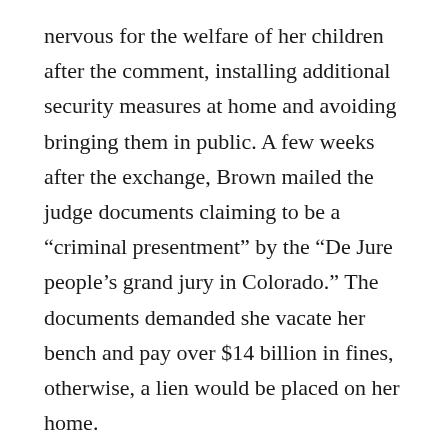nervous for the welfare of her children after the comment, installing additional security measures at home and avoiding bringing them in public. A few weeks after the exchange, Brown mailed the judge documents claiming to be a “criminal presentment” by the “De Jure people’s grand jury in Colorado.” The documents demanded she vacate her bench and pay over $14 billion in fines, otherwise, a lien would be placed on her home.
The majority acknowledged that some of the circumstances did not support a credible threat. The statement was part of an ongoing and contentious case, Brown didn’t violate a protection order for the criminal case, the judge did not hold